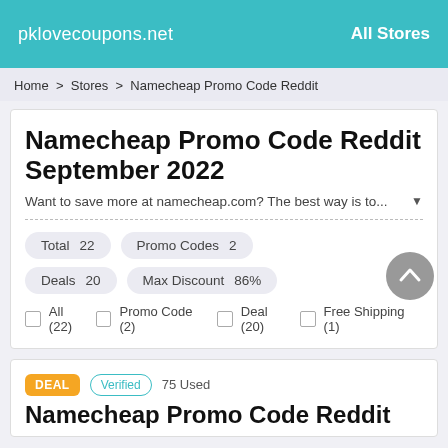pklovecoupons.net    All Stores
Home > Stores > Namecheap Promo Code Reddit
Namecheap Promo Code Reddit September 2022
Want to save more at namecheap.com? The best way is to...
Total 22   Promo Codes 2
Deals 20   Max Discount 86%
All (22)   Promo Code (2)   Deal (20)   Free Shipping (1)
DEAL   Verified   75 Used
Namecheap Promo Code Reddit